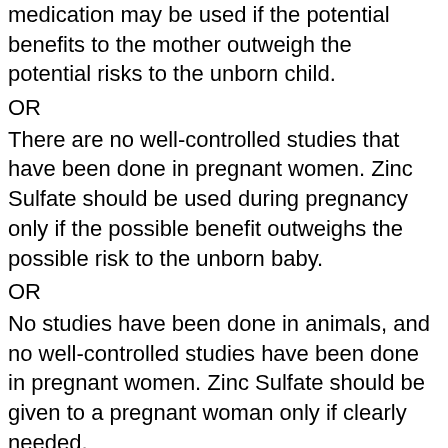medication may be used if the potential benefits to the mother outweigh the potential risks to the unborn child.
OR
There are no well-controlled studies that have been done in pregnant women. Zinc Sulfate should be used during pregnancy only if the possible benefit outweighs the possible risk to the unborn baby.
OR
No studies have been done in animals, and no well-controlled studies have been done in pregnant women. Zinc Sulfate should be given to a pregnant woman only if clearly needed.
Zinc Sulfate Dosage
Take zinc sulfate exactly as prescribed by your doctor. Follow the directions on your prescription label carefully.
The Zinc Sulfate dose your doctor recommends will be based on the following (use any or all that apply):